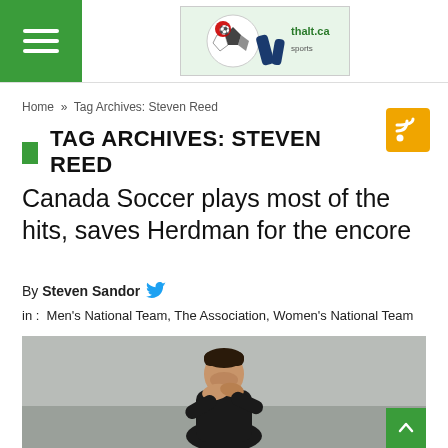TAG ARCHIVES: STEVEN REED — navigation header with hamburger menu and soccer logo
Home » Tag Archives: Steven Reed
TAG ARCHIVES: STEVEN REED
Canada Soccer plays most of the hits, saves Herdman for the encore
By Steven Sandor
in : Men's National Team, The Association, Women's National Team
[Figure (photo): Man wearing black jacket shouting with hands cupped around mouth, photographed from the side against a light grey background]